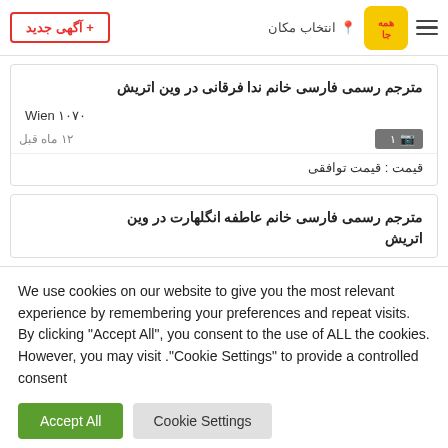+ آگهی جدید | انتخاب مکان | همه‌جا logo
مترجم رسمی فارسی خانم ندا فرقانی در وین اتریش
Wien ۱۰۷۰ | ۱۲ ماه قبل
قیمت : قیمت توافقی
مترجم رسمی فارسی خانم عاطفه انگلهارت در وین اتریش
We use cookies on our website to give you the most relevant experience by remembering your preferences and repeat visits. By clicking "Accept All", you consent to the use of ALL the cookies. However, you may visit ."Cookie Settings" to provide a controlled consent
Accept All | Cookie Settings